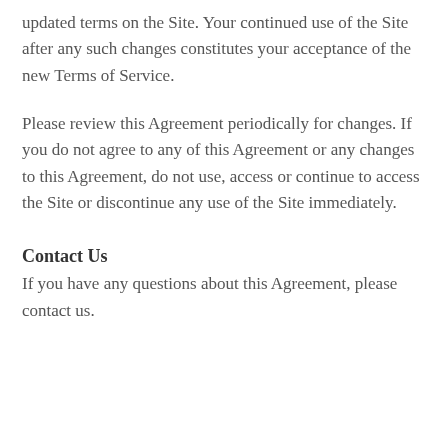updated terms on the Site. Your continued use of the Site after any such changes constitutes your acceptance of the new Terms of Service.
Please review this Agreement periodically for changes. If you do not agree to any of this Agreement or any changes to this Agreement, do not use, access or continue to access the Site or discontinue any use of the Site immediately.
Contact Us
If you have any questions about this Agreement, please contact us.